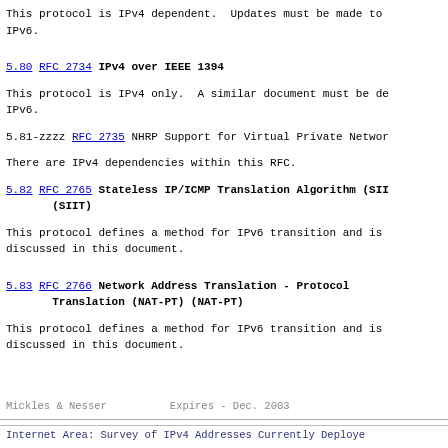This protocol is IPv4 dependent.  Updates must be made to IPv6.
5.80 RFC 2734 IPv4 over IEEE 1394
This protocol is IPv4 only.  A similar document must be de IPv6.
5.81-zzzz RFC 2735 NHRP Support for Virtual Private Networ
There are IPv4 dependencies within this RFC.
5.82 RFC 2765 Stateless IP/ICMP Translation Algorithm (SII (SIIT)
This protocol defines a method for IPv6 transition and is discussed in this document.
5.83 RFC 2766 Network Address Translation - Protocol Translation (NAT-PT) (NAT-PT)
This protocol defines a method for IPv6 transition and is discussed in this document.
Mickles & Nesser          Expires - Dec. 2003
Internet Area: Survey of IPv4 Addresses Currently Deploye